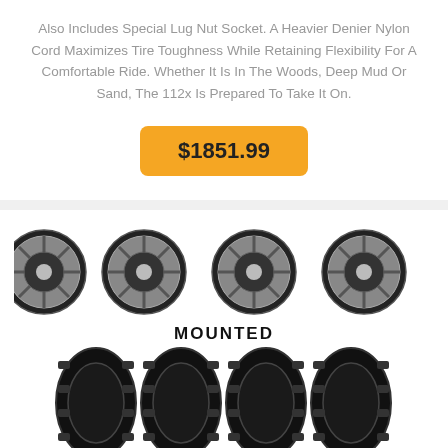Also Includes Special Lug Nut Socket. A Heavier Denier Nylon Cord Maximizes Tire Toughness While Retaining Flexibility For A Comfortable Ride. Whether It Is In The Woods, Deep Mud Or Sand, The 112x Is Prepared To Take It On.
$1851.99
[Figure (photo): Four chrome/black alloy wheels arranged in a row (top), text MOUNTED, four black off-road tires arranged in a row (bottom)]
Kit 4 Sti Bostona